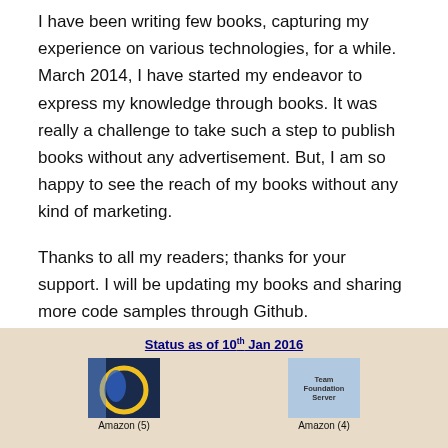I have been writing few books, capturing my experience on various technologies, for a while. March 2014, I have started my endeavor to express my knowledge through books. It was really a challenge to take such a step to publish books without any advertisement. But, I am so happy to see the reach of my books without any kind of marketing.
Thanks to all my readers; thanks for your support. I will be updating my books and sharing more code samples through Github.
My book status as of 10th Jan 2016 is shown below.
[Figure (infographic): Status as of 10th Jan 2016 infographic showing two book covers. Left book cover is dark blue with a circular logo. Right book cover shows 'Team Foundation Server' text on a light blue/pink background. Below left cover: Amazon (5). Below right cover: Amazon (4).]